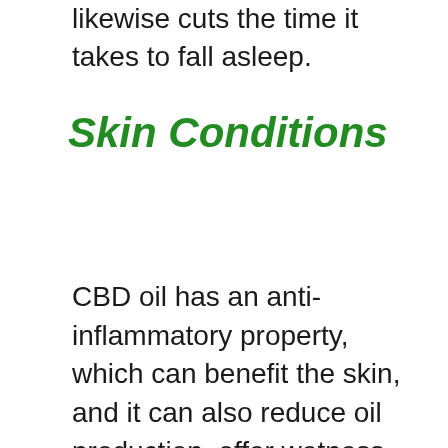likewise cuts the time it takes to fall asleep.
Skin Conditions
CBD oil has an anti-inflammatory property, which can benefit the skin, and it can also reduce oil production, offer wetness and eliminate pain and itching. Topical CBD is safe and works successfully for all skin types. The items are simple to administer. Patients of serious medical skin conditions and those who are seeking innovative skin care choices